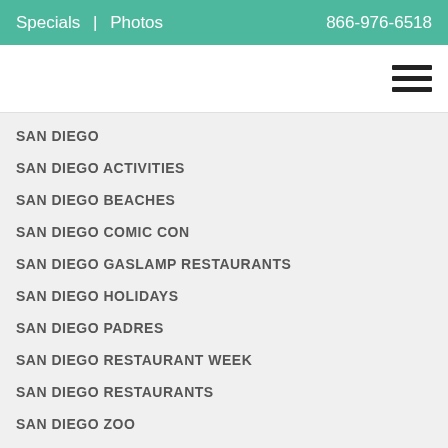Specials | Photos   866-976-6518
SAN DIEGO
SAN DIEGO ACTIVITIES
SAN DIEGO BEACHES
SAN DIEGO COMIC CON
SAN DIEGO GASLAMP RESTAURANTS
SAN DIEGO HOLIDAYS
SAN DIEGO PADRES
SAN DIEGO RESTAURANT WEEK
SAN DIEGO RESTAURANTS
SAN DIEGO ZOO